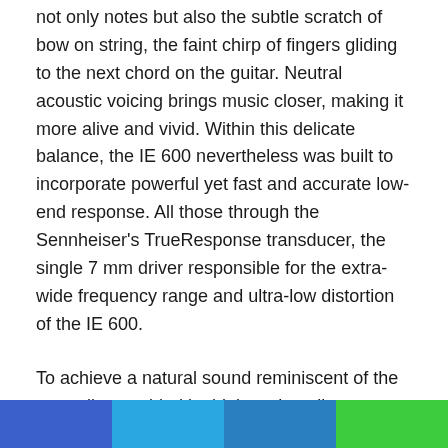not only notes but also the subtle scratch of bow on string, the faint chirp of fingers gliding to the next chord on the guitar. Neutral acoustic voicing brings music closer, making it more alive and vivid. Within this delicate balance, the IE 600 nevertheless was built to incorporate powerful yet fast and accurate low-end response. All those through the Sennheiser's TrueResponse transducer, the single 7 mm driver responsible for the extra-wide frequency range and ultra-low distortion of the IE 600.
To achieve a natural sound reminiscent of the neutrality provided by high-end studio monitors, our engineers carefully tuned the acoustic back volume inside the nozzle of the IE 600. This voicing lends a presence and intimacy that brings listeners closer to the music, allowing them to discover new accents and details. However, arriving at this